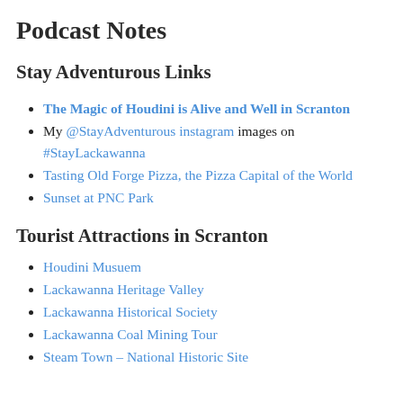Podcast Notes
Stay Adventurous Links
The Magic of Houdini is Alive and Well in Scranton
My @StayAdventurous instagram images on #StayLackawanna
Tasting Old Forge Pizza, the Pizza Capital of the World
Sunset at PNC Park
Tourist Attractions in Scranton
Houdini Musuem
Lackawanna Heritage Valley
Lackawanna Historical Society
Lackawanna Coal Mining Tour
Steam Town – National Historic Site